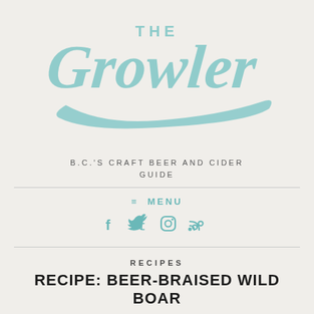[Figure (logo): The Growler script logo in teal/aqua color with distressed texture effect]
B.C.'S CRAFT BEER AND CIDER GUIDE
≡ MENU
[Figure (other): Social media icons: Facebook, Twitter, Instagram, RSS in teal color]
RECIPES
RECIPE: BEER-BRAISED WILD BOAR